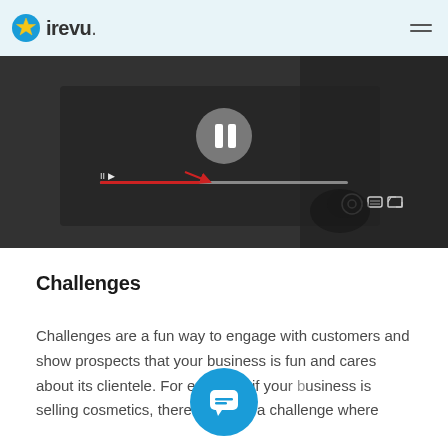irevu.
[Figure (screenshot): Video player screenshot showing a paused video with playback controls, a red progress bar, and a hand interacting with the screen. Controls include pause button, play bar, settings gear, and fullscreen icon.]
Challenges
Challenges are a fun way to engage with customers and show prospects that your business is fun and cares about its clientele. For example, if you’ce is selling cosmetics, there could be a challenge where